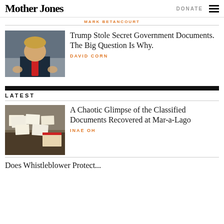Mother Jones | DONATE
MARK BETANCOURT
[Figure (photo): Photo of Donald Trump in a suit with red tie, gesturing with hands]
Trump Stole Secret Government Documents. The Big Question Is Why.
DAVID CORN
LATEST
[Figure (photo): Photo of classified documents spread on a table, recovered at Mar-a-Lago]
A Chaotic Glimpse of the Classified Documents Recovered at Mar-a-Lago
INAE OH
Does Whistleblower Protect...